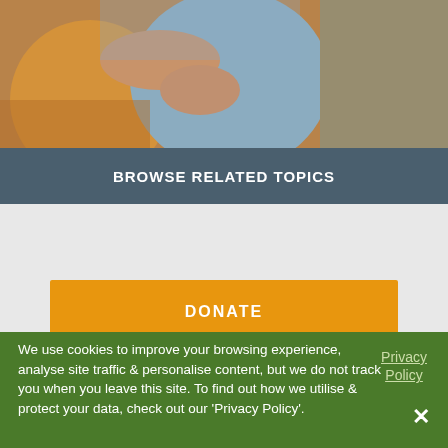[Figure (photo): Photo of people, appears to show individuals hugging or embracing, with warm orange/yellow and blue-gray tones]
BROWSE RELATED TOPICS
DONATE
INSTANT DEVOTIONAL ACCESS
We use cookies to improve your browsing experience, analyse site traffic & personalise content, but we do not track you when you leave this site. To find out how we utilise & protect your data, check out our 'Privacy Policy'.
Privacy Policy
✕